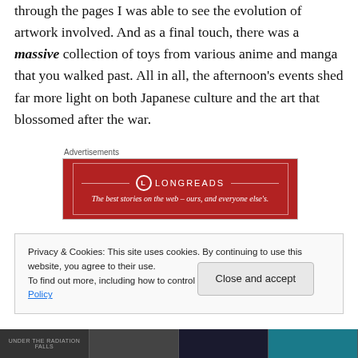through the pages I was able to see the evolution of artwork involved. And as a final touch, there was a massive collection of toys from various anime and manga that you walked past. All in all, the afternoon's events shed far more light on both Japanese culture and the art that blossomed after the war.
[Figure (other): Longreads advertisement banner — red background with white border, logo circle with 'L', text: LONGREADS, The best stories on the web – ours, and everyone else's.]
Privacy & Cookies: This site uses cookies. By continuing to use this website, you agree to their use.
To find out more, including how to control cookies, see here: Cookie Policy
Close and accept
[Figure (photo): Bottom strip showing four small thumbnail images of book covers or media.]